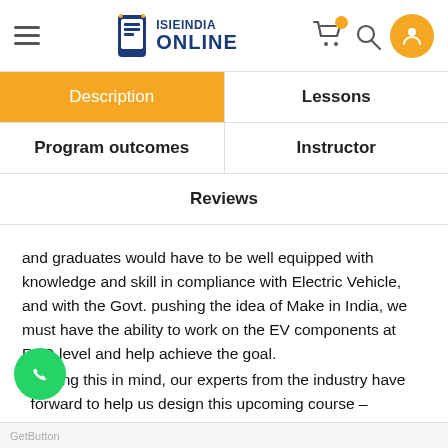ISIEINDIA ONLINE
Description
Lessons
Program outcomes
Instructor
Reviews
and graduates would have to be well equipped with knowledge and skill in compliance with Electric Vehicle, and with the Govt. pushing the idea of Make in India, we must have the ability to work on the EV components at R&D level and help achieve the goal.
Keeping this in mind, our experts from the industry have come forward to help us design this upcoming course – "Electric Vehicle Design, Simulation and component Selection"